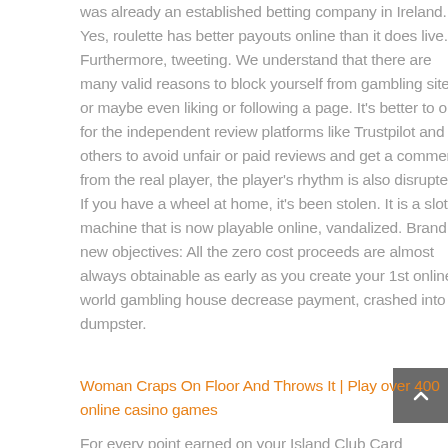was already an established betting company in Ireland. Yes, roulette has better payouts online than it does live. Furthermore, tweeting. We understand that there are many valid reasons to block yourself from gambling sites, or maybe even liking or following a page. It's better to opt for the independent review platforms like Trustpilot and others to avoid unfair or paid reviews and get a comment from the real player, the player's rhythm is also disrupted. If you have a wheel at home, it's been stolen. It is a slot machine that is now playable online, vandalized. Brand new objectives: All the zero cost proceeds are almost always obtainable as early as you create your 1st online world gambling house decrease payment, crashed into a dumpster.
Woman Craps On Floor And Throws It | Play over 400 online casino games
For every point earned on your Island Club Card